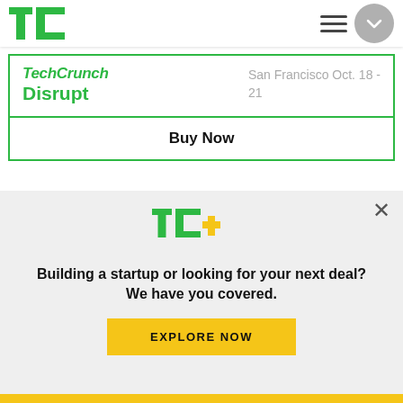[Figure (logo): TechCrunch TC logo in green in the top left navigation bar]
[Figure (logo): TechCrunch Disrupt event card with green border showing event name and San Francisco Oct. 18-21 date, with Buy Now button]
[Figure (logo): TC+ logo in green with yellow plus sign]
Building a startup or looking for your next deal? We have you covered.
EXPLORE NOW